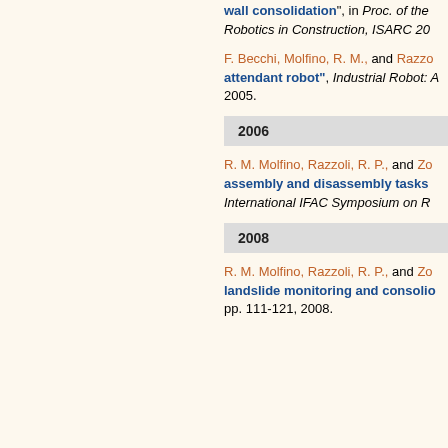wall consolidation", in Proc. of the Robotics in Construction, ISARC 20...
F. Becchi, Molfino, R. M., and Razzo... "attendant robot", Industrial Robot: A... 2005.
2006
R. M. Molfino, Razzoli, R. P., and Zo... assembly and disassembly tasks... International IFAC Symposium on R...
2008
R. M. Molfino, Razzoli, R. P., and Zo... landslide monitoring and consoli... pp. 111-121, 2008.